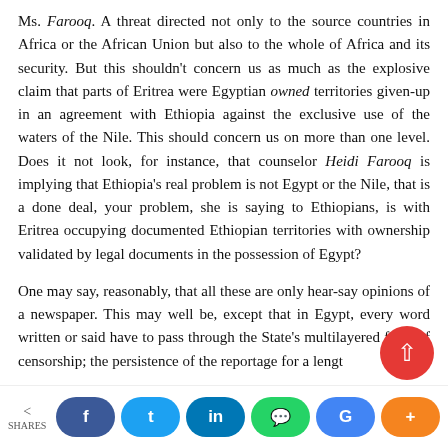Ms. Farooq. A threat directed not only to the source countries in Africa or the African Union but also to the whole of Africa and its security. But this shouldn't concern us as much as the explosive claim that parts of Eritrea were Egyptian owned territories given-up in an agreement with Ethiopia against the exclusive use of the waters of the Nile. This should concern us on more than one level. Does it not look, for instance, that counselor Heidi Farooq is implying that Ethiopia's real problem is not Egypt or the Nile, that is a done deal, your problem, she is saying to Ethiopians, is with Eritrea occupying documented Ethiopian territories with ownership validated by legal documents in the possession of Egypt?
One may say, reasonably, that all these are only hear-say opinions of a newspaper. This may well be, except that in Egypt, every word written or said have to pass through the State's multilayered filter of censorship; the persistence of the reportage for a length…